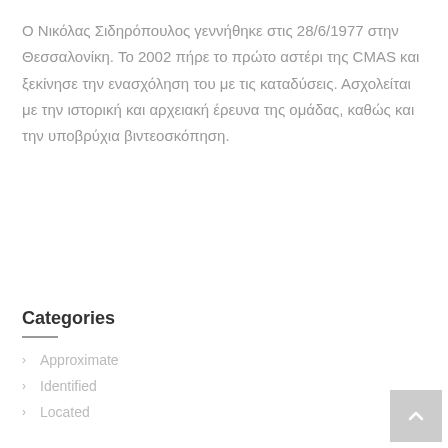Ο Νικόλας Σιδηρόπουλος γεννήθηκε στις 28/6/1977 στην Θεσσαλονίκη. Το 2002 πήρε το πρώτο αστέρι της CMAS και ξεκίνησε την ενασχόληση του με τις καταδύσεις. Ασχολείται με την ιστορική και αρχειακή έρευνα της ομάδας, καθώς και την υποβρύχια βιντεοσκόπηση.
Categories
Approximate
Identified
Located